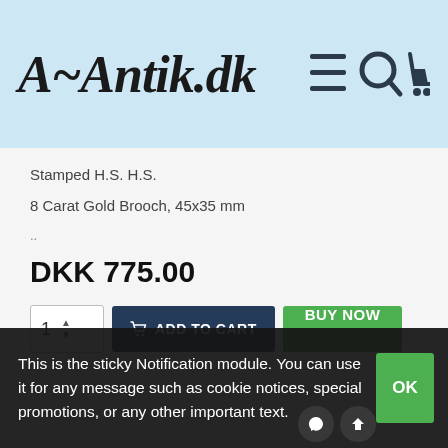[Figure (logo): A-Antik.dk logo in cursive/brush script font on light blue background with hamburger menu, search, and cart icons]
Stamped H.S. H.S.
8 Carat Gold Brooch, 45x35 mm
..
DKK 775.00
[Figure (screenshot): Add to cart button with quantity selector (1), ADD TO CART (dark navy) and BUY NOW (green) buttons]
This is the sticky Notification module. You can use it for any message such as cookie notices, special promotions, or any other important text.